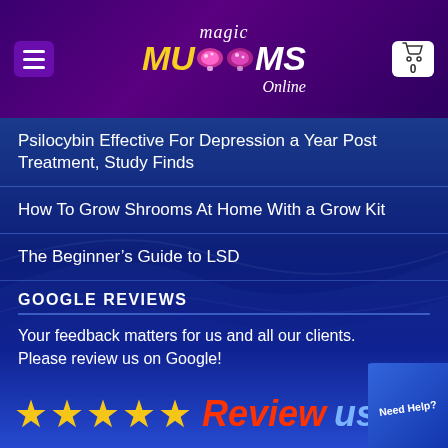[Figure (logo): Magic Mushrooms Online website header logo with hamburger menu and cart button on dark purple background]
Psilocybin Effective For Depression a Year Post Treatment, Study Finds
How To Grow Shrooms At Home With a Grow Kit
The Beginner’s Guide to LSD
GOOGLE REVIEWS
Your feedback matters for us and all our clients. Please review us on Google!
[Figure (infographic): Five gold stars followed by red italic text 'Review' and blue text 'us' with a Need Help badge in the corner]